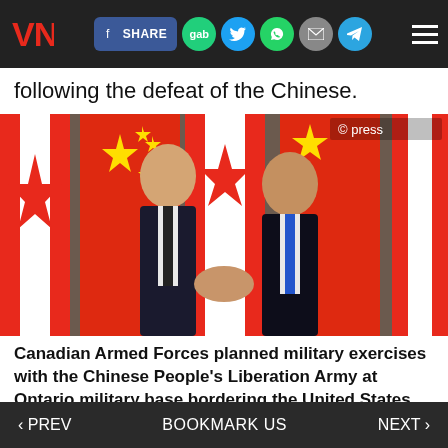VN [logo] | SHARE | gab | Twitter | WhatsApp | Mail | Telegram | Menu
following the defeat of the Chinese.
[Figure (photo): Two men in suits shaking hands in front of Canadian and Chinese flags. Left man wears dark suit with dark tie, right man wears dark suit with blue tie. Photo credit: © press]
Canadian Armed Forces planned military exercises with the Chinese People's Liberation Army at Ontario military base bordering the United States
‹ PREV   BOOKMARK US   NEXT ›